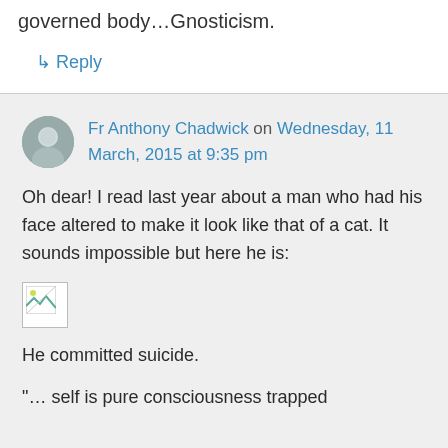governed body…Gnosticism.
↳ Reply
Fr Anthony Chadwick on Wednesday, 11 March, 2015 at 9:35 pm
Oh dear! I read last year about a man who had his face altered to make it look like that of a cat. It sounds impossible but here he is:
[Figure (photo): Broken image placeholder]
He committed suicide.
"… self is pure consciousness trapped within the DNA..."